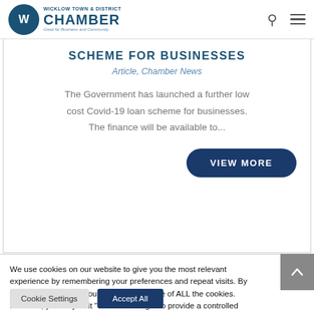[Figure (logo): Wicklow Town & District Chamber logo with circular emblem and text]
SCHEME FOR BUSINESSES
Article, Chamber News
The Government has launched a further low cost Covid-19 loan scheme for businesses. The finance will be available to...
We use cookies on our website to give you the most relevant experience by remembering your preferences and repeat visits. By clicking "Accept All", you consent to the use of ALL the cookies. However, you may visit "Cookie Settings" to provide a controlled consent.